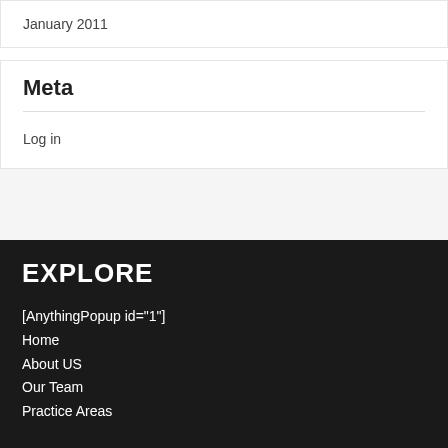January 2011
Meta
Log in
EXPLORE
[AnythingPopup id="1"]
Home
About US
Our Team
Practice Areas